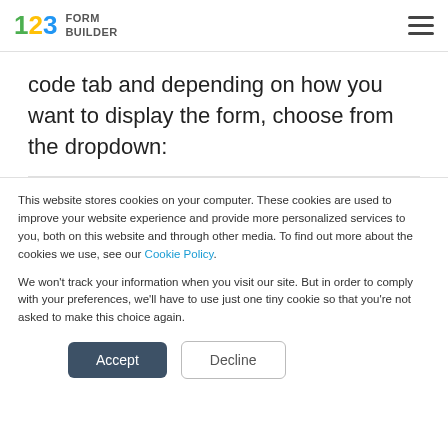123 FORM BUILDER
code tab and depending on how you want to display the form, choose from the dropdown:
This website stores cookies on your computer. These cookies are used to improve your website experience and provide more personalized services to you, both on this website and through other media. To find out more about the cookies we use, see our Cookie Policy.
We won't track your information when you visit our site. But in order to comply with your preferences, we'll have to use just one tiny cookie so that you're not asked to make this choice again.
Accept  Decline